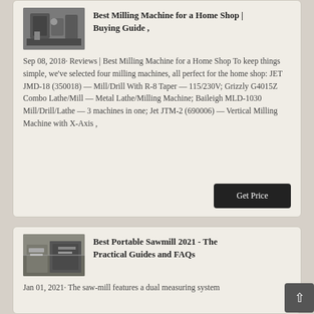[Figure (photo): Thumbnail photo of a milling machine in an industrial setting]
Best Milling Machine for a Home Shop | Buying Guide ,
Sep 08, 2018· Reviews | Best Milling Machine for a Home Shop To keep things simple, we've selected four milling machines, all perfect for the home shop: JET JMD-18 (350018) — Mill/Drill With R-8 Taper — 115/230V; Grizzly G4015Z Combo Lathe/Mill — Metal Lathe/Milling Machine; Baileigh MLD-1030 Mill/Drill/Lathe — 3 machines in one; Jet JTM-2 (690006) — Vertical Milling Machine with X-Axis ,
[Figure (photo): Thumbnail photo of a portable sawmill in an industrial building]
Best Portable Sawmill 2021 - The Practical Guides and FAQs
Jan 01, 2021· The saw-mill features a dual measuring system